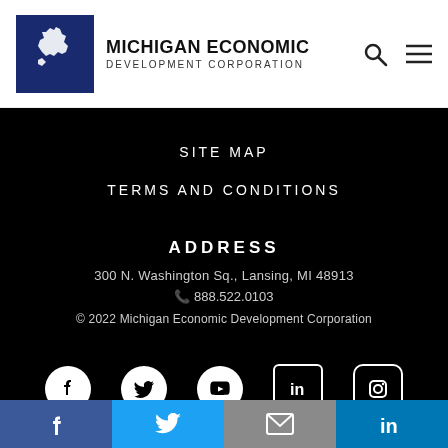MICHIGAN ECONOMIC DEVELOPMENT CORPORATION
SITE MAP
TERMS AND CONDITIONS
ADDRESS
300 N. Washington Sq., Lansing, MI 48913
888.522.0103
© 2022 Michigan Economic Development Corporation
[Figure (infographic): Social media icons row: Facebook, Twitter, YouTube, LinkedIn, Instagram]
f  Twitter  mail  in